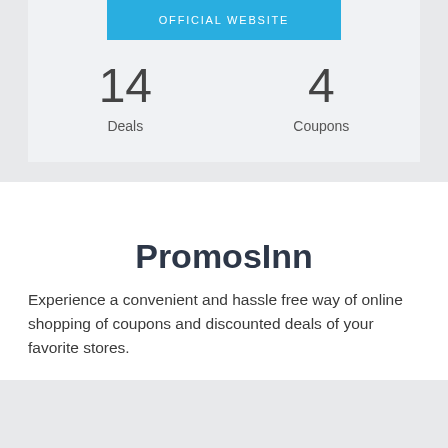OFFICIAL WEBSITE
14
Deals
4
Coupons
PromosInn
Experience a convenient and hassle free way of online shopping of coupons and discounted deals of your favorite stores.